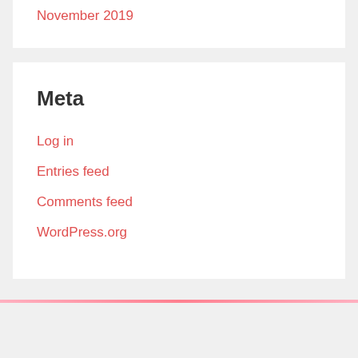November 2019
Meta
Log in
Entries feed
Comments feed
WordPress.org